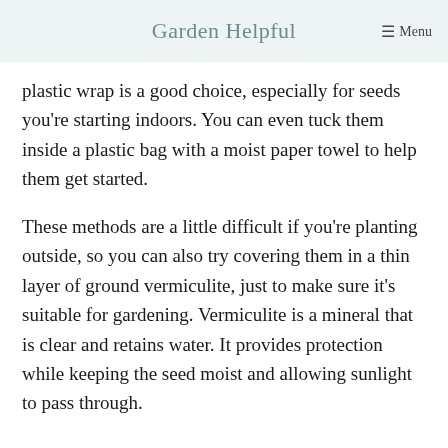Garden Helpful   ☰ Menu
plastic wrap is a good choice, especially for seeds you're starting indoors. You can even tuck them inside a plastic bag with a moist paper towel to help them get started.
These methods are a little difficult if you're planting outside, so you can also try covering them in a thin layer of ground vermiculite, just to make sure it's suitable for gardening. Vermiculite is a mineral that is clear and retains water. It provides protection while keeping the seed moist and allowing sunlight to pass through.